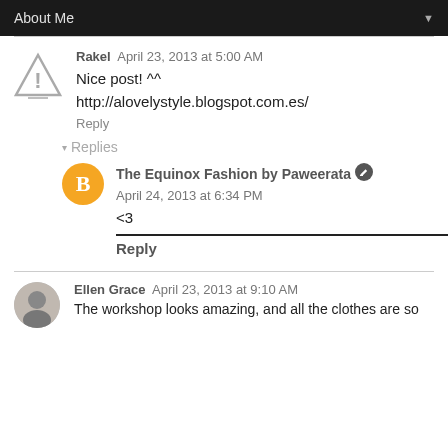About Me
Rakel  April 23, 2013 at 5:00 AM
Nice post! ^^
http://alovelystyle.blogspot.com.es/
Reply
Replies
The Equinox Fashion by Paweerata  April 24, 2013 at 6:34 PM
<3
Reply
Ellen Grace  April 23, 2013 at 9:10 AM
The workshop looks amazing, and all the clothes are so